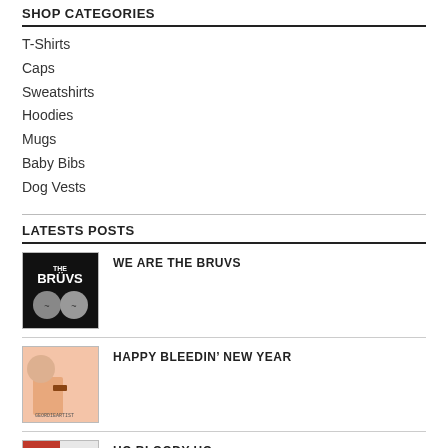SHOP CATEGORIES
T-Shirts
Caps
Sweatshirts
Hoodies
Mugs
Baby Bibs
Dog Vests
LATESTS POSTS
[Figure (photo): Thumbnail image for 'We Are The Bruvs' post showing cartoon face graphics on dark background with BRUVS text]
WE ARE THE BRUVS
[Figure (photo): Thumbnail image for 'Happy Bleedin New Year' post showing illustrated character on pink/peach background]
HAPPY BLEEDIN’ NEW YEAR
[Figure (photo): Thumbnail image for 'Ho Bloody Ho' post showing red and white graphic]
HO BLOODY HO